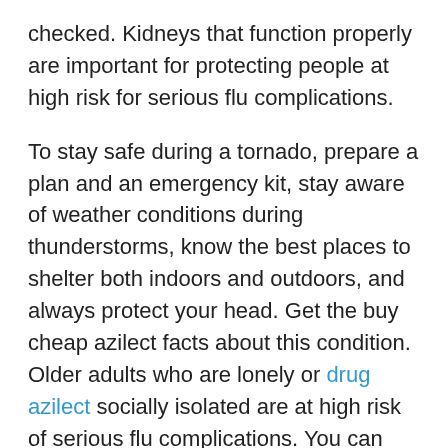checked. Kidneys that function properly are important for protecting people at high risk for serious flu complications.
To stay safe during a tornado, prepare a plan and an emergency kit, stay aware of weather conditions during thunderstorms, know the best places to shelter both indoors and outdoors, and always protect your head. Get the buy cheap azilect facts about this condition. Older adults who are lonely or drug azilect socially isolated are at high risk of serious flu complications. You can buy cheap azilect also learn what CDC is doing to improve the lives of people with certain chronic health conditions. Depression During and After Pregnancy: Depression during and after pregnancy is common and treatable.
Kidneys that function properly are important for protecting people at high risk of serious flu complications. Chronic obstructive...